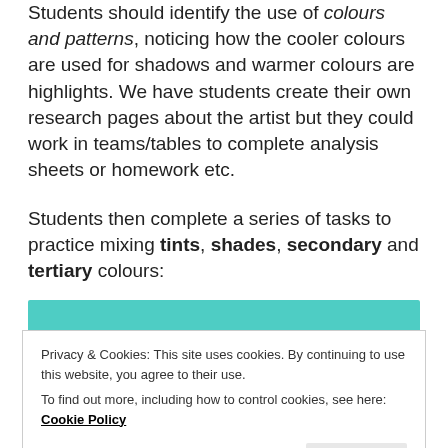Students should identify the use of colours and patterns, noticing how the cooler colours are used for shadows and warmer colours are highlights. We have students create their own research pages about the artist but they could work in teams/tables to complete analysis sheets or homework etc.
Students then complete a series of tasks to practice mixing tints, shades, secondary and tertiary colours:
[Figure (other): Teal/turquoise colored bar (partial visible)]
Privacy & Cookies: This site uses cookies. By continuing to use this website, you agree to their use. To find out more, including how to control cookies, see here: Cookie Policy
[Figure (other): Green colored bar at bottom of page]